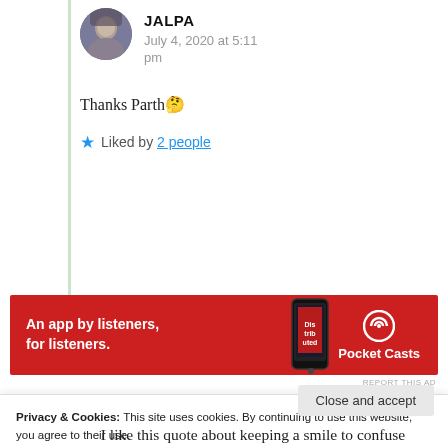JALPA
July 4, 2020 at 5:11 pm
Thanks Parth🤔
★ Liked by 2 people
[Figure (infographic): Red advertisement banner for Pocket Casts: 'An app by listeners, for listeners.' with phone image and Pocket Casts logo]
REPORT THIS AD
Privacy & Cookies: This site uses cookies. By continuing to use this website, you agree to their use.
To find out more, including how to control cookies, see here: Cookie Policy
I like this quote about keeping a smile to confuse